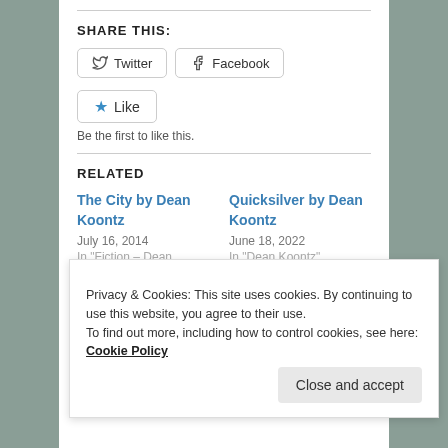SHARE THIS:
Twitter  Facebook
★ Like
Be the first to like this.
RELATED
The City by Dean Koontz
July 16, 2014
In "Fiction - Dean
Quicksilver by Dean Koontz
June 18, 2022
In "Dean Koontz"
Privacy & Cookies: This site uses cookies. By continuing to use this website, you agree to their use.
To find out more, including how to control cookies, see here: Cookie Policy
Close and accept